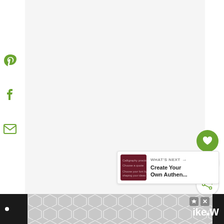[Figure (screenshot): Social sharing sidebar with Pinterest, Facebook, and email icons on the left. Main content area is a light gray empty rectangle. Right side has a green heart/like button, count of 2, and a share button. A 'What's Next' panel shows a dark red thumbnail and text 'Create Your Own Authen...'. Bottom black bar with ad banner overlay showing hexagon pattern, ad controls, and brand logo 'ike' with superscript degree symbol and letter W.]